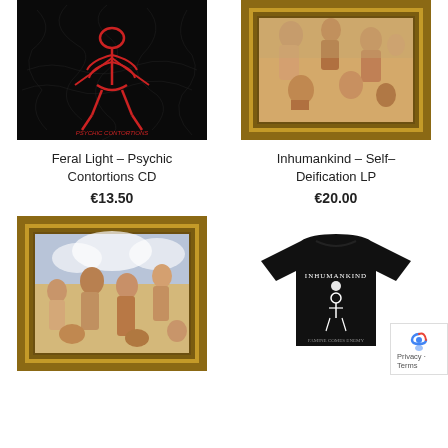[Figure (photo): Album cover for Feral Light – Psychic Contortions: red skeletal figure on black background with white tendrils]
[Figure (photo): Album cover for Inhumankind – Self-Deification: classical painting in gold frame showing figures, inverted]
Feral Light – Psychic Contortions CD
€13.50
Inhumankind – Self-Deification LP
€20.00
[Figure (photo): Album cover in gold frame: classical painting with figures and angels, similar to Inhumankind Self-Deification]
[Figure (photo): Black t-shirt with metal band graphic: white skeletal/demonic figure with gothic text]
Privacy · Terms